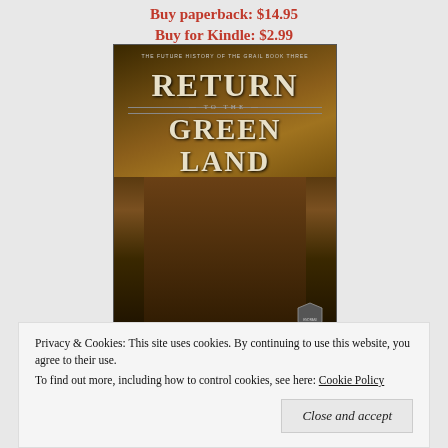Buy paperback: $14.95
Buy for Kindle: $2.99
[Figure (illustration): Book cover for 'Return to the Green Land' — The Future History of the Grail Book Three. Shows three figures in dark fantasy armor against a dramatic sky backdrop. The central figure is a woman with long red hair. Title text in large serif font.]
Privacy & Cookies: This site uses cookies. By continuing to use this website, you agree to their use.
To find out more, including how to control cookies, see here: Cookie Policy
Close and accept